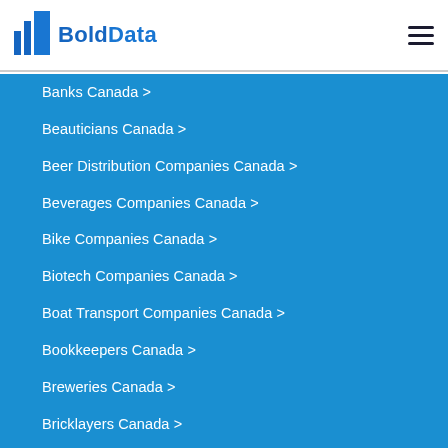BoldData
Banks Canada >
Beauticians Canada >
Beer Distribution Companies Canada >
Beverages Companies Canada >
Bike Companies Canada >
Biotech Companies Canada >
Boat Transport Companies Canada >
Bookkeepers Canada >
Breweries Canada >
Bricklayers Canada >
Bus Companies Canada >
Butchers Canada >
Canada Company Data >